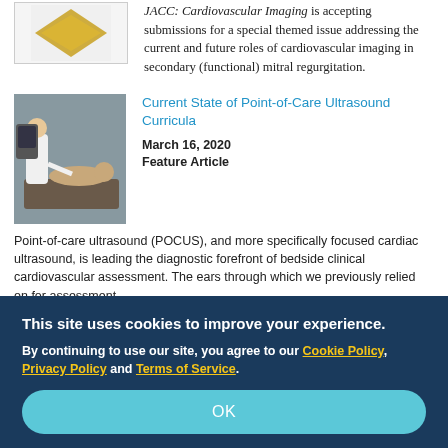[Figure (logo): JACC journal logo with gold/yellow diamond shape]
JACC: Cardiovascular Imaging is accepting submissions for a special themed issue addressing the current and future roles of cardiovascular imaging in secondary (functional) mitral regurgitation.
[Figure (photo): Medical professional performing ultrasound on a patient lying on an exam table]
Current State of Point-of-Care Ultrasound Curricula
March 16, 2020
Feature Article
Point-of-care ultrasound (POCUS), and more specifically focused cardiac ultrasound, is leading the diagnostic forefront of bedside clinical cardiovascular assessment. The ears through which we previously relied on for assessment.
This site uses cookies to improve your experience.
By continuing to use our site, you agree to our Cookie Policy, Privacy Policy and Terms of Service.
OK